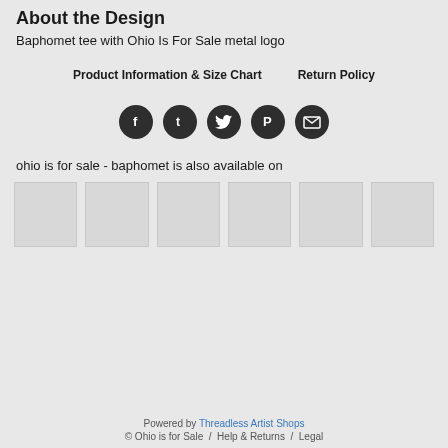About the Design
Baphomet tee with Ohio Is For Sale metal logo
Product Information & Size Chart     Return Policy
[Figure (infographic): Five dark circular social media icon buttons: Facebook (f), Tumblr (t), Twitter bird, Pinterest (P), Email (envelope)]
ohio is for sale - baphomet is also available on
[Figure (other): Six light gray product thumbnail placeholder images in a row]
Powered by Threadless Artist Shops
© Ohio is for Sale  /  Help & Returns  /  Legal